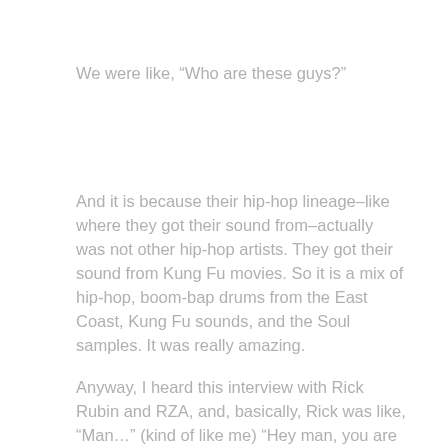We were like, “Who are these guys?”
And it is because their hip-hop lineage–like where they got their sound from–actually was not other hip-hop artists. They got their sound from Kung Fu movies. So it is a mix of hip-hop, boom-bap drums from the East Coast, Kung Fu sounds, and the Soul samples. It was really amazing.
Anyway, I heard this interview with Rick Rubin and RZA, and, basically, Rick was like, “Man…” (kind of like me) “Hey man, you are like an alien, but you are making, you